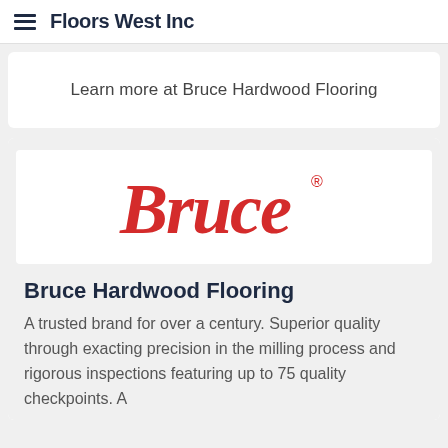Floors West Inc
Learn more at Bruce Hardwood Flooring
[Figure (logo): Bruce brand logo in large red italic serif lettering with registered trademark symbol]
Bruce Hardwood Flooring
A trusted brand for over a century. Superior quality through exacting precision in the milling process and rigorous inspections featuring up to 75 quality checkpoints. A